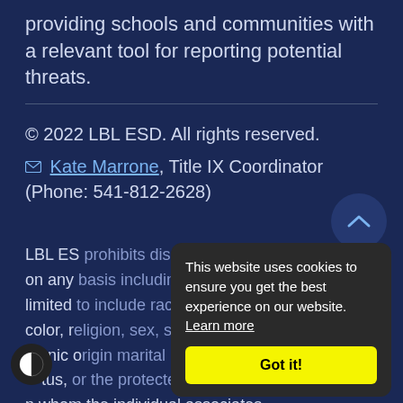providing schools and communities with a relevant tool for reporting potential threats.
© 2022 LBL ESD. All rights reserved.
Kate Marrone, Title IX Coordinator (Phone: 541-812-2628)
LBL ESD prohibits discrimination and harassment on any basis including but not limited to race, color, religion, sex, sexual orientation, national or ethnic origin, marital status, or the protected status of any other person with whom the individual associates.
[Figure (other): Cookie consent popup overlay with text 'This website uses cookies to ensure you get the best experience on our website. Learn more' and a yellow 'Got it!' button]
[Figure (other): Accessibility toggle button (half-circle icon) in bottom left corner]
[Figure (other): Back to top button (circle with upward chevron) in upper right area]